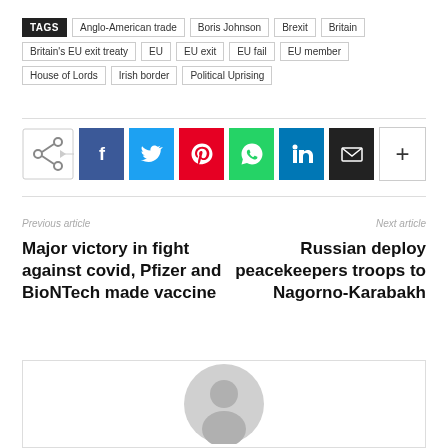TAGS  Anglo-American trade  Boris Johnson  Brexit  Britain  Britain's EU exit treaty  EU  EU exit  EU fail  EU member  House of Lords  Irish border  Political Uprising
[Figure (other): Social share buttons: share icon with arrow, Facebook, Twitter, Pinterest, WhatsApp, LinkedIn, Email, More (+)]
Previous article
Next article
Major victory in fight against covid, Pfizer and BioNTech made vaccine
Russian deploy peacekeepers troops to Nagorno-Karabakh
[Figure (photo): Image placeholder with grey avatar/person silhouette icon in center]